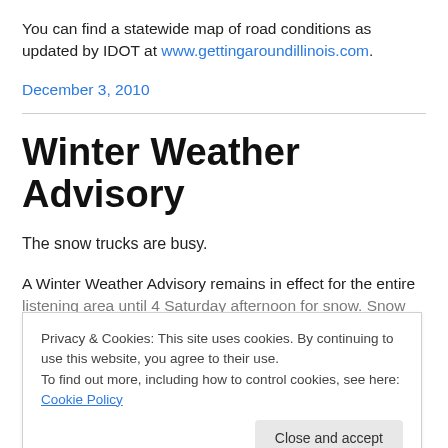You can find a statewide map of road conditions as updated by IDOT at www.gettingaroundillinois.com.
December 3, 2010
Winter Weather Advisory
The snow trucks are busy.
A Winter Weather Advisory remains in effect for the entire listening area until 4 Saturday afternoon for snow. Snow
Privacy & Cookies: This site uses cookies. By continuing to use this website, you agree to their use. To find out more, including how to control cookies, see here: Cookie Policy